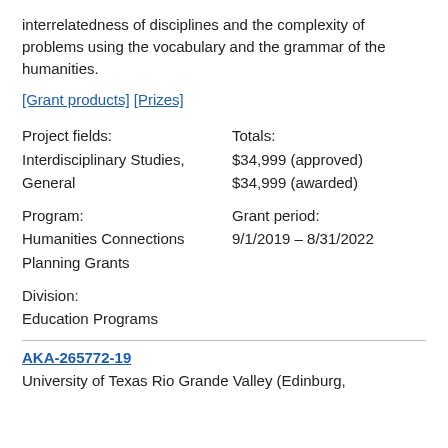interrelatedness of disciplines and the complexity of problems using the vocabulary and the grammar of the humanities.
[Grant products] [Prizes]
Project fields:
Interdisciplinary Studies, General

Totals:
$34,999 (approved)
$34,999 (awarded)
Program:
Humanities Connections Planning Grants

Grant period:
9/1/2019 – 8/31/2022
Division:
Education Programs
AKA-265772-19
University of Texas Rio Grande Valley (Edinburg,